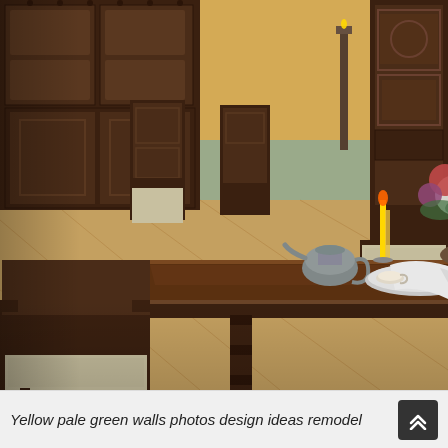[Figure (photo): Interior photo of a traditional dining room featuring dark carved wood furniture including a large rectangular dining table with ornate carved legs, high-back carved chairs with checkered upholstered seats, and a large carved cabinet/hutch in the background. The table is set with a pewter teapot, a plate with a white napkin draped over it, and a large floral centerpiece with colorful flowers and yellow candles. The walls are painted yellow with a white wainscoting chair rail. The floor is light wood parquet/hardwood.]
Yellow pale green walls photos design ideas remodel